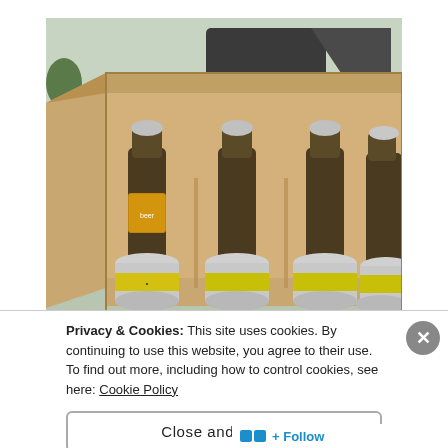[Figure (photo): A cardboard box viewed from above, containing four dark glass bottles with silver caps and four aluminum cans (silver with yellow labels) arranged in two rows. Background shows a desk with keyboard and monitor.]
Privacy & Cookies: This site uses cookies. By continuing to use this website, you agree to their use.
To find out more, including how to control cookies, see here: Cookie Policy
Close and accept